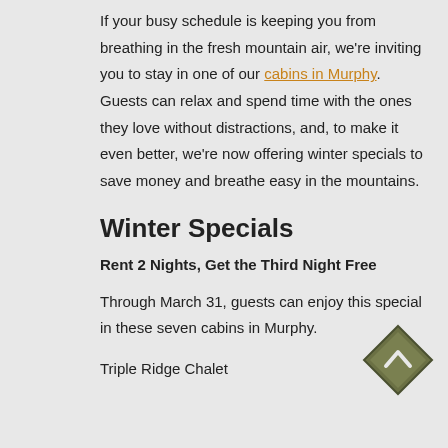If your busy schedule is keeping you from breathing in the fresh mountain air, we're inviting you to stay in one of our cabins in Murphy. Guests can relax and spend time with the ones they love without distractions, and, to make it even better, we're now offering winter specials to save money and breathe easy in the mountains.
Winter Specials
Rent 2 Nights, Get the Third Night Free
Through March 31, guests can enjoy this special in these seven cabins in Murphy.
Triple Ridge Chalet